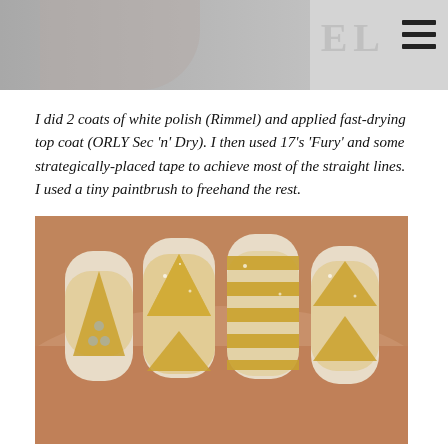[Figure (photo): Blog page header image showing a partial portrait photo on the left side and decorative letters on the right, with a hamburger menu icon in the top-right corner]
I did 2 coats of white polish (Rimmel) and applied fast-drying top coat (ORLY Sec 'n' Dry). I then used 17's 'Fury' and some strategically-placed tape to achieve most of the straight lines. I used a tiny paintbrush to freehand the rest.
[Figure (photo): Close-up photo of a hand showing nail art on four fingers: nails decorated with white polish base and gold glitter geometric designs including triangles, stripes, and chevrons. One nail has small rhinestone dots.]
[Figure (infographic): Ko-fi 'Support me' button widget — yellow rounded rectangle with a white coffee cup icon with a red heart and the letter D, followed by bold text 'Support me']
I applied another layer of top coat and then used my favourite